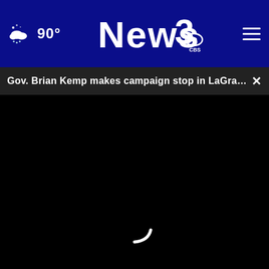90° News3
Gov. Brian Kemp makes campaign stop in LaGrange ...
[Figure (screenshot): Black video player area with loading spinner arc]
Ad by Juiseh
[Figure (photo): First Presbyterian Church advertisement banner: TUNE IN TO OUR LIVE SERVICE ON SUNDAYS AT 11 AM ON WRBL]